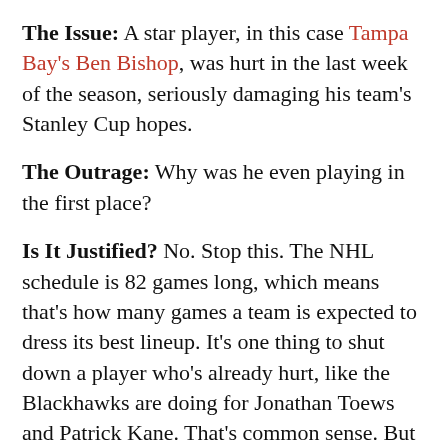The Issue: A star player, in this case Tampa Bay's Ben Bishop, was hurt in the last week of the season, seriously damaging his team's Stanley Cup hopes.
The Outrage: Why was he even playing in the first place?
Is It Justified? No. Stop this. The NHL schedule is 82 games long, which means that's how many games a team is expected to dress its best lineup. It's one thing to shut down a player who's already hurt, like the Blackhawks are doing for Jonathan Toews and Patrick Kane. That's common sense. But it doesn't mean that teams should roll every decent player up in bubble wrap and hide them in a bunker until the playoffs start.
You'll notice that nobody ever complains about this sort of thing until after an injury, at which point everyone wants to